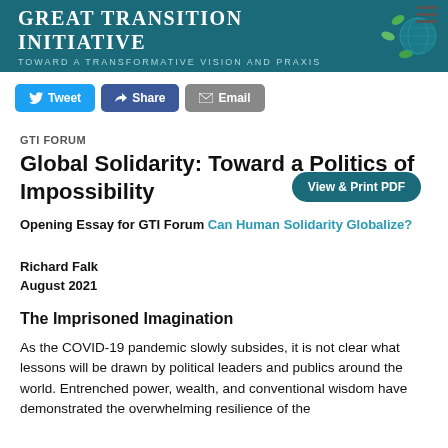Great Transition Initiative — Toward a Transformative Vision and Praxis
Tweet  Share  Email  View & Print PDF
GTI FORUM
Global Solidarity: Toward a Politics of Impossibility
Opening Essay for GTI Forum Can Human Solidarity Globalize?
Richard Falk
August 2021
The Imprisoned Imagination
As the COVID-19 pandemic slowly subsides, it is not clear what lessons will be drawn by political leaders and publics around the world. Entrenched power, wealth, and conventional wisdom have demonstrated the overwhelming resilience of the